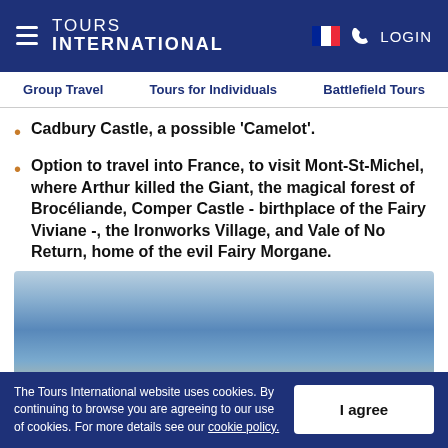TOURS INTERNATIONAL — GROUP TRAVEL | TOURS FOR INDIVIDUALS | BATTLEFIELD TOURS
Cadbury Castle, a possible 'Camelot'.
Option to travel into France, to visit Mont-St-Michel, where Arthur killed the Giant, the magical forest of Brocéliande, Comper Castle - birthplace of the Fairy Viviane -, the Ironworks Village, and Vale of No Return, home of the evil Fairy Morgane.
[Figure (photo): Blurred outdoor photo with blue sky and landscape in the background]
The Tours International website uses cookies. By continuing to browse you are agreeing to our use of cookies. For more details see our cookie policy.